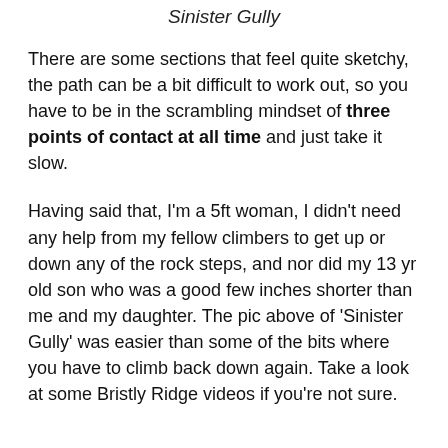Sinister Gully
There are some sections that feel quite sketchy, the path can be a bit difficult to work out, so you have to be in the scrambling mindset of three points of contact at all time and just take it slow.
Having said that, I’m a 5ft woman, I didn’t need any help from my fellow climbers to get up or down any of the rock steps, and nor did my 13 yr old son who was a good few inches shorter than me and my daughter. The pic above of ‘Sinister Gully’ was easier than some of the bits where you have to climb back down again. Take a look at some Bristly Ridge videos if you’re not sure.